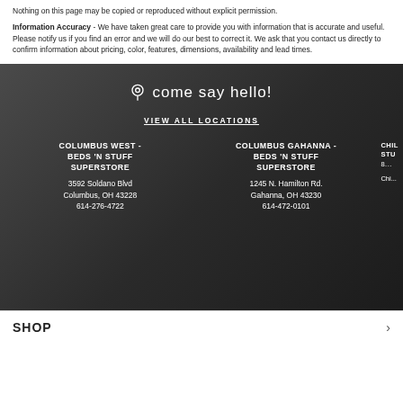Nothing on this page may be copied or reproduced without explicit permission. Information Accuracy - We have taken great care to provide you with information that is accurate and useful. Please notify us if you find an error and we will do our best to correct it. We ask that you contact us directly to confirm information about pricing, color, features, dimensions, availability and lead times.
come say hello!
VIEW ALL LOCATIONS
COLUMBUS WEST - BEDS 'N STUFF SUPERSTORE
3592 Soldano Blvd
Columbus, OH 43228
614-276-4722
COLUMBUS GAHANNA - BEDS 'N STUFF SUPERSTORE
1245 N. Hamilton Rd.
Gahanna, OH 43230
614-472-0101
CHIL STU 8... Chi...
SHOP >